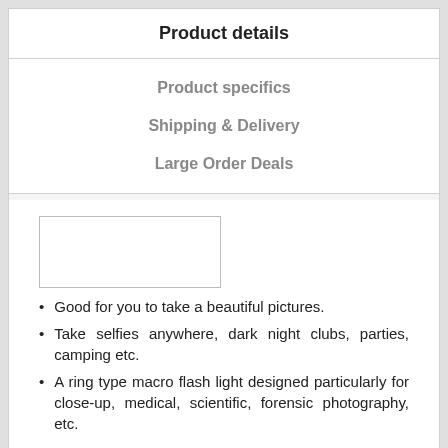Product details
Product specifics
Shipping & Delivery
Large Order Deals
[Figure (other): Empty image placeholder box]
Good for you to take a beautiful pictures.
Take selfies anywhere, dark night clubs, parties, camping etc.
A ring type macro flash light designed particularly for close-up, medical, scientific, forensic photography, etc.